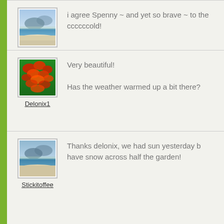[Figure (photo): Avatar thumbnail of a beach/coastal landscape scene (mountains and sandy beach)]
Stickitoffee
i agree Spenny ~ and yet so brave ~ to the ccccccold!
[Figure (photo): Avatar thumbnail of red tropical flowers (Delonix/flamboyant tree flowers)]
Delonix1
Very beautiful!

Has the weather warmed up a bit there?
[Figure (photo): Avatar thumbnail of a beach/coastal landscape scene (mountains and sandy beach)]
Stickitoffee
Thanks delonix, we had sun yesterday b have snow across half the garden!